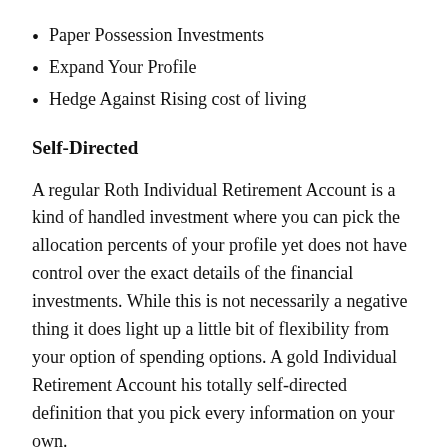Paper Possession Investments
Expand Your Profile
Hedge Against Rising cost of living
Self-Directed
A regular Roth Individual Retirement Account is a kind of handled investment where you can pick the allocation percents of your profile yet does not have control over the exact details of the financial investments. While this is not necessarily a negative thing it does light up a little bit of flexibility from your option of spending options. A gold Individual Retirement Account his totally self-directed definition that you pick every information on your own.
Can Hold Numerous Rare-earth Elements
A gold Individual Retirement Account is capable of holding greater than simply gold. There are a number of